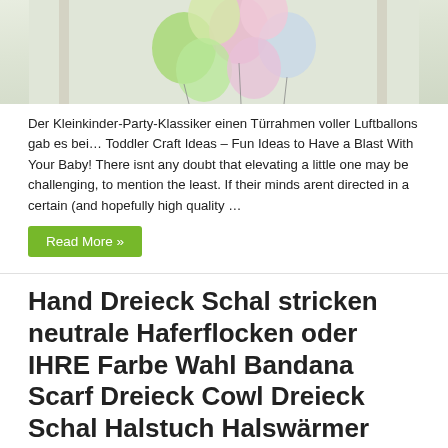[Figure (photo): Colorful balloons (green, pink, lavender) in a doorframe arrangement, partially visible at top of page]
Der Kleinkinder-Party-Klassiker einen Türrahmen voller Luftballons gab es bei… Toddler Craft Ideas – Fun Ideas to Have a Blast With Your Baby! There isnt any doubt that elevating a little one may be challenging, to mention the least. If their minds arent directed in a certain (and hopefully high quality …
Read More »
Hand Dreieck Schal stricken neutrale Haferflocken oder IHRE Farbe Wahl Bandana Scarf Dreieck Cowl Dreieck Schal Halstuch Halswärmer Herbst Mode
October 4, 2019   Toddlers Learning   0   104
[Figure (photo): Knitted or crocheted scarf/bandana in textured yarn, partially visible at bottom of page]